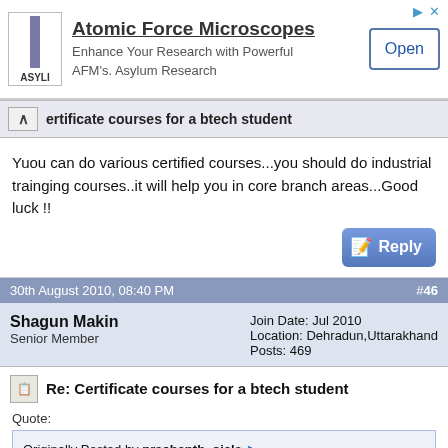[Figure (screenshot): Advertisement banner for Asylum Research Atomic Force Microscopes with logo, text, and Open button]
ertificate courses for a btech student
Yuou can do various certified courses...you should do industrial trainging courses..it will help you in core branch areas...Good luck !!
30th August 2010, 08:40 PM  #46
Shagun Makin
Senior Member
Join Date: Jul 2010
Location: Dehradun,Uttarakhand
Posts: 469
Re: Certificate courses for a btech student
Quote:
Originally Posted by prashanth_ojela
Sir,
I had completed my graduation (B-tech) at hyderabad in Electrical and Electronics Engineering stream with an aggrigate of 67.23%.
Can you please suggest me wheather there are any certificate courses which adds strength to my career.
my email id: prashanth.ojela@gmail.com